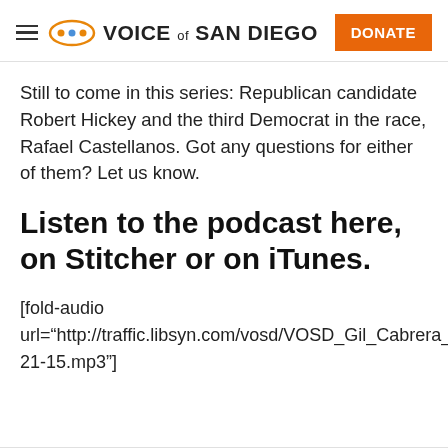VOICE of SAN DIEGO | DONATE
Still to come in this series: Republican candidate Robert Hickey and the third Democrat in the race, Rafael Castellanos. Got any questions for either of them? Let us know.
Listen to the podcast here, on Stitcher or on iTunes.
[fold-audio url="http://traffic.libsyn.com/vosd/VOSD_Gil_Cabrera_09-21-15.mp3"]